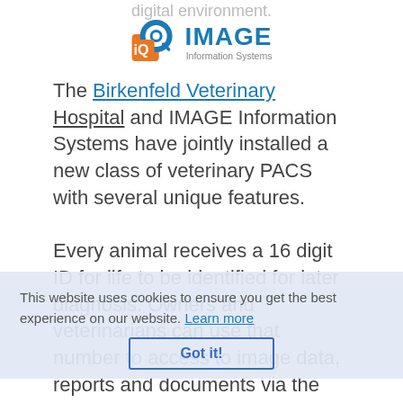digital environment.
[Figure (logo): IMAGE Information Systems logo with orange/blue icon and blue text]
The Birkenfeld Veterinary Hospital and IMAGE Information Systems have jointly installed a new class of veterinary PACS with several unique features.

Every animal receives a 16 digit ID for life to be identified for later diagnosis. Owners and veterinarians can use that number to access to image data, reports and documents via the web at any time and from anywhere. Studbook organizations are able to log
This website uses cookies to ensure you get the best experience on our website. Learn more
Got it!